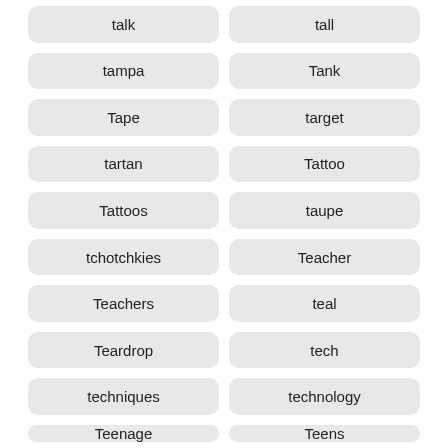talk
tall
tampa
Tank
Tape
target
tartan
Tattoo
Tattoos
taupe
tchotchkies
Teacher
Teachers
teal
Teardrop
tech
techniques
technology
Teenage
Teens